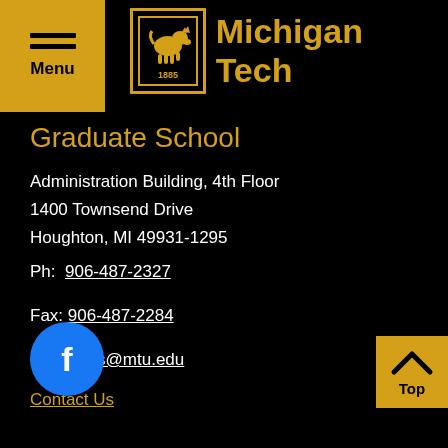Menu | Michigan Tech
Graduate School
Administration Building, 4th Floor
1400 Townsend Drive
Houghton, MI 49931-1295
Ph: 906-487-2327
Fax: 906-487-2284
gradadms@mtu.edu
Contact Us
[Figure (logo): Facebook social media icon - blue circle with white f]
[Figure (logo): Back to top button - yellow square with upward chevron and Top text]